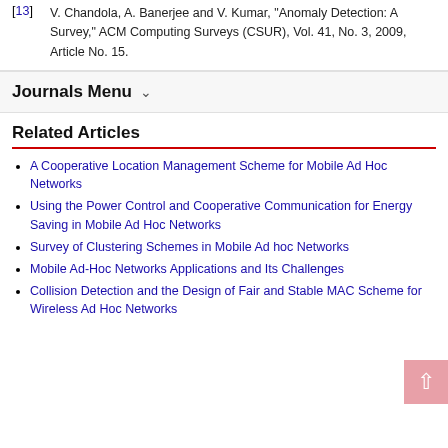[13] V. Chandola, A. Banerjee and V. Kumar, "Anomaly Detection: A Survey," ACM Computing Surveys (CSUR), Vol. 41, No. 3, 2009, Article No. 15.
Journals Menu
Related Articles
A Cooperative Location Management Scheme for Mobile Ad Hoc Networks
Using the Power Control and Cooperative Communication for Energy Saving in Mobile Ad Hoc Networks
Survey of Clustering Schemes in Mobile Ad hoc Networks
Mobile Ad-Hoc Networks Applications and Its Challenges
Collision Detection and the Design of Fair and Stable MAC Scheme for Wireless Ad Hoc Networks